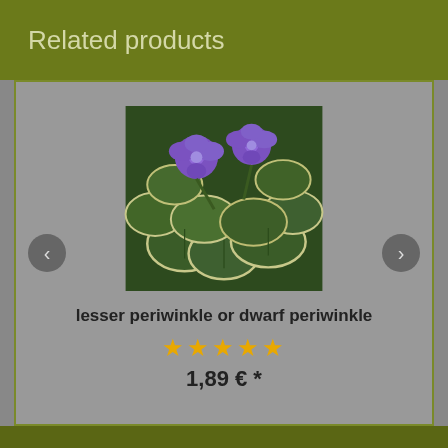Related products
[Figure (photo): Photo of lesser periwinkle or dwarf periwinkle plant with purple flowers and variegated green-white leaves]
lesser periwinkle or dwarf periwinkle
★★★★★
1,89 € *